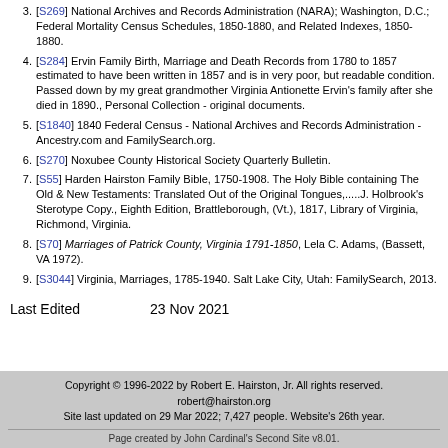3. [S269] National Archives and Records Administration (NARA); Washington, D.C.; Federal Mortality Census Schedules, 1850-1880, and Related Indexes, 1850-1880.
4. [S284] Ervin Family Birth, Marriage and Death Records from 1780 to 1857 estimated to have been written in 1857 and is in very poor, but readable condition. Passed down by my great grandmother Virginia Antionette Ervin's family after she died in 1890., Personal Collection - original documents.
5. [S1840] 1840 Federal Census - National Archives and Records Administration - Ancestry.com and FamilySearch.org.
6. [S270] Noxubee County Historical Society Quarterly Bulletin.
7. [S55] Harden Hairston Family Bible, 1750-1908. The Holy Bible containing The Old & New Testaments: Translated Out of the Original Tongues,.....J. Holbrook's Sterotype Copy., Eighth Edition, Brattleborough, (Vt.), 1817, Library of Virginia, Richmond, Virginia.
8. [S70] Marriages of Patrick County, Virginia 1791-1850, Lela C. Adams, (Bassett, VA 1972).
9. [S3044] Virginia, Marriages, 1785-1940. Salt Lake City, Utah: FamilySearch, 2013.
Last Edited    23 Nov 2021
Copyright © 1996-2022 by Robert E. Hairston, Jr. All rights reserved. robert@hairston.org Site last updated on 29 Mar 2022; 7,427 people. Website's 26th year. Page created by John Cardinal's Second Site v8.01.